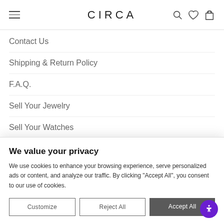CIRCA
Contact Us
Shipping & Return Policy
F.A.Q.
Sell Your Jewelry
Sell Your Watches
We value your privacy
We use cookies to enhance your browsing experience, serve personalized ads or content, and analyze our traffic. By clicking "Accept All", you consent to our use of cookies.
Customize | Reject All | Accept All